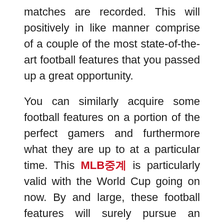matches are recorded. This will positively in like manner comprise of a couple of the most state-of-the-art football features that you passed up a great opportunity.
You can similarly acquire some football features on a portion of the perfect gamers and furthermore what they are up to at a particular time. This MLB중계 is particularly valid with the World Cup going on now. By and large, these football features will surely pursue an arrangement request beginning with the primary day of the games and featuring precisely how each group faired, people that played during the games, the targets piled on, the players that scored them and furthermore which gamers were